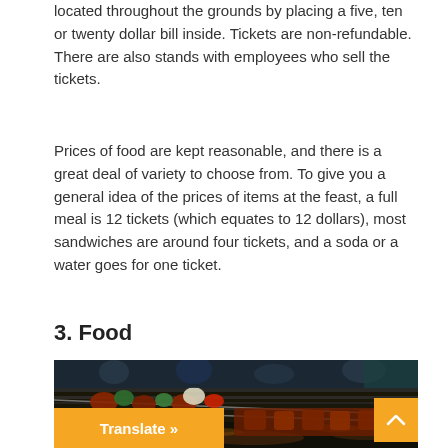located throughout the grounds by placing a five, ten or twenty dollar bill inside. Tickets are non-refundable. There are also stands with employees who sell the tickets.
Prices of food are kept reasonable, and there is a great deal of variety to choose from. To give you a general idea of the prices of items at the feast, a full meal is 12 tickets (which equates to 12 dollars), most sandwiches are around four tickets, and a soda or a water goes for one ticket.
3. Food
[Figure (photo): Photo of meat and vegetable kebabs on skewers cooking on a grill over charcoal, with people visible in the background.]
Translate »